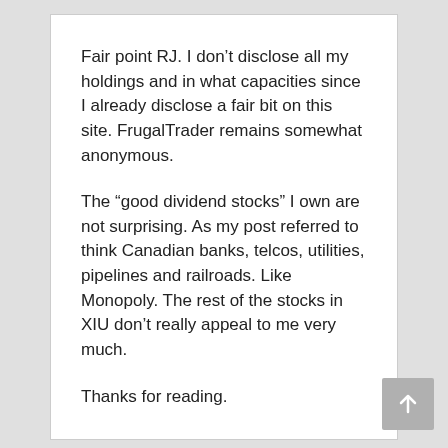Fair point RJ. I don’t disclose all my holdings and in what capacities since I already disclose a fair bit on this site. FrugalTrader remains somewhat anonymous.
The “good dividend stocks” I own are not surprising. As my post referred to think Canadian banks, telcos, utilities, pipelines and railroads. Like Monopoly. The rest of the stocks in XIU don’t really appeal to me very much.
Thanks for reading.